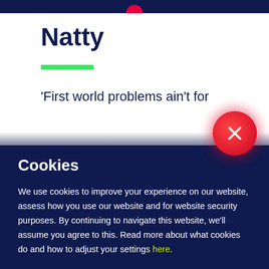Natty
'First world problems ain't for
Cookies
We use cookies to improve your experience on our website, assess how you use our website and for website security purposes. By continuing to navigate this website, we'll assume you agree to this. Read more about what cookies do and how to adjust your settings here.